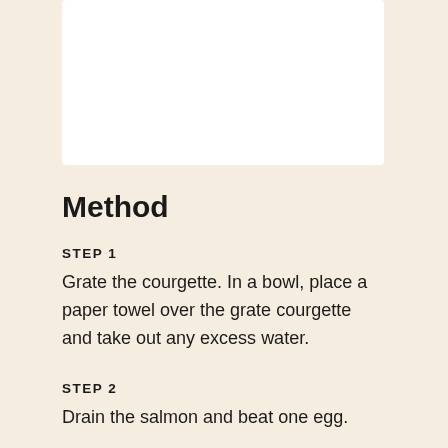[Figure (photo): White rectangular image area at top of page, appears to be a cropped photo placeholder]
Method
STEP 1
Grate the courgette. In a bowl, place a paper towel over the grate courgette and take out any excess water.
STEP 2
Drain the salmon and beat one egg.
STEP 3